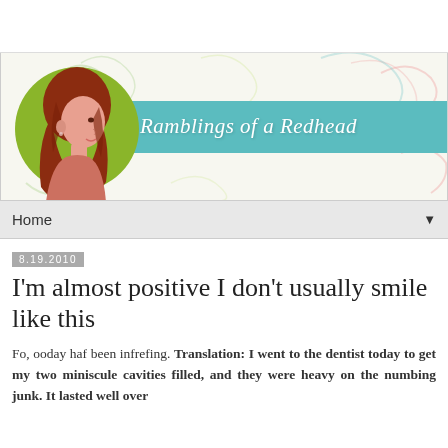[Figure (illustration): Blog header banner for 'Ramblings of a Redhead'. Features a decorative background with soft pastel swirls in green, pink, and blue on a cream background. A circular green logo contains a silhouette illustration of a woman with red hair facing right. A teal horizontal stripe across the middle-right contains the blog title 'Ramblings of a Redhead' in white italic script font.]
Home ▼
8.19.2010
I'm almost positive I don't usually smile like this
Fo, ooday haf been infrefing. Translation: I went to the dentist today to get my two miniscule cavities filled, and they were heavy on the numbing junk. It lasted well over